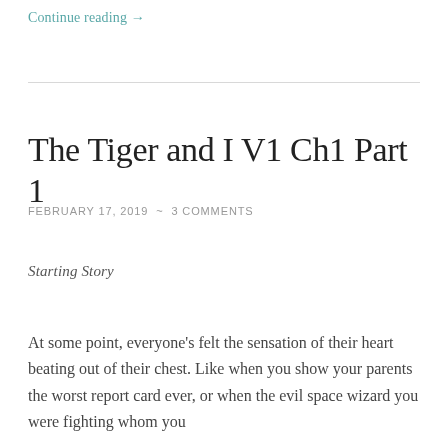Continue reading →
The Tiger and I V1 Ch1 Part 1
FEBRUARY 17, 2019  ~  3 COMMENTS
Starting Story
At some point, everyone's felt the sensation of their heart beating out of their chest. Like when you show your parents the worst report card ever, or when the evil space wizard you were fighting whom you